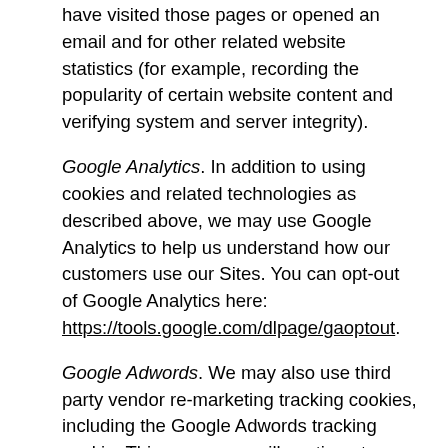have visited those pages or opened an email and for other related website statistics (for example, recording the popularity of certain website content and verifying system and server integrity).
Google Analytics. In addition to using cookies and related technologies as described above, we may use Google Analytics to help us understand how our customers use our Sites. You can opt-out of Google Analytics here: https://tools.google.com/dlpage/gaoptout.
Google Adwords. We may also use third party vendor re-marketing tracking cookies, including the Google Adwords tracking cookie. This means we will continue to show ads to you across the internet. As always, we respect your privacy and are not collecting any identifiable information through the use of Google's or any other third party remarketing system. If you don't want to see our ads, you can opt-out of interest-based advertising here http://optout.networkadvertising.org/.
Do-Not-Track Signals